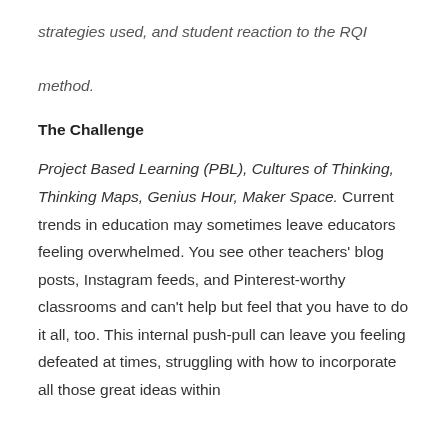strategies used, and student reaction to the RQI method.
The Challenge
Project Based Learning (PBL), Cultures of Thinking, Thinking Maps, Genius Hour, Maker Space. Current trends in education may sometimes leave educators feeling overwhelmed. You see other teachers' blog posts, Instagram feeds, and Pinterest-worthy classrooms and can't help but feel that you have to do it all, too. This internal push-pull can leave you feeling defeated at times, struggling with how to incorporate all those great ideas within